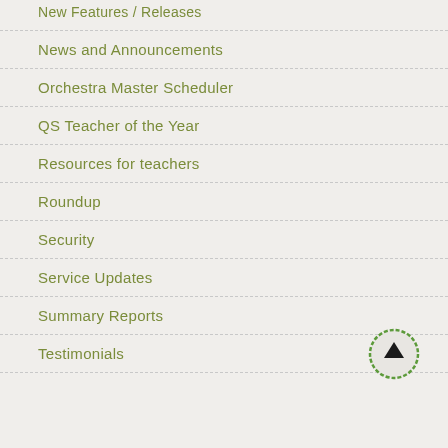New Features / Releases
News and Announcements
Orchestra Master Scheduler
QS Teacher of the Year
Resources for teachers
Roundup
Security
Service Updates
Summary Reports
Testimonials
[Figure (other): Scroll-to-top button: circular icon with an upward arrow, green ring border on grey background]